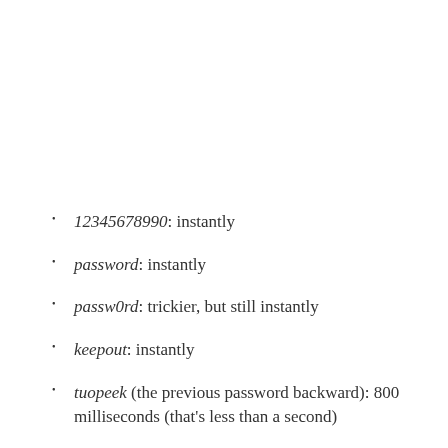12345678990: instantly
password: instantly
passw0rd: trickier, but still instantly
keepout: instantly
tuopeek (the previous password backward): 800 milliseconds (that's less than a second)
johnsmith: 9 minutes (unless that's really your name, which makes it even easier